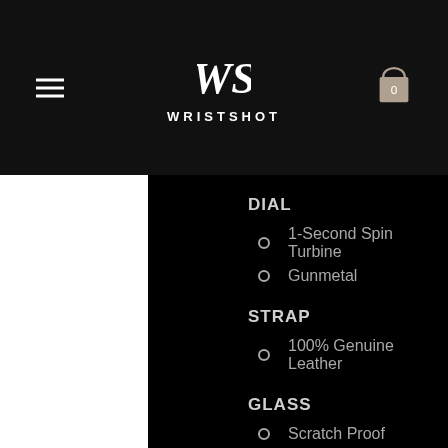[Figure (logo): Wristshot brand logo with stylized WS monogram and WRISTSHOT text below, hamburger menu icon on left, shopping bag icon with 0 on right]
DIAL
1-Second Spin Turbine
Gunmetal
STRAP
100% Genuine Leather
GLASS
Scratch Proof
Sapphire Coated
MOVEMENT
Automatic
42H Power Reserve
WATER RESISTANT